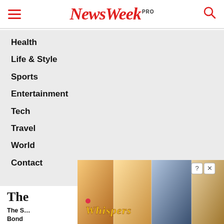NewsWeek PRO
Health
Life & Style
Sports
Entertainment
Tech
Travel
World
Contact
The
The S… Ward Bond
August…
[Figure (illustration): Whispers mobile game advertisement overlay showing romantic illustrated characters with the Whispers logo]